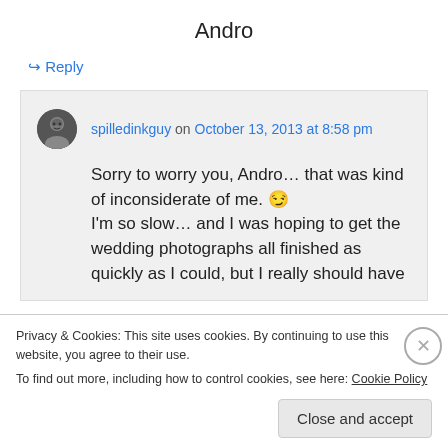Andro
↪ Reply
spilledinkguy on October 13, 2013 at 8:58 pm
Sorry to worry you, Andro… that was kind of inconsiderate of me. 😕 I'm so slow… and I was hoping to get the wedding photographs all finished as quickly as I could, but I really should have
Privacy & Cookies: This site uses cookies. By continuing to use this website, you agree to their use.
To find out more, including how to control cookies, see here: Cookie Policy